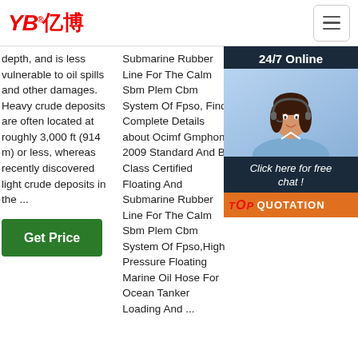YB亿博® [navigation/hamburger menu]
depth, and is less vulnerable to oil spills and other damages. Heavy crude deposits are often located at roughly 3,000 ft (914 m) or less, whereas recently discovered light crude deposits in the ...
Submarine Rubber Line For The Calm Sbm Plem Cbm System Of Fpso, Find Complete Details about Ocimf Gmphom 2009 Standard And Bv Class Certified Floating And Submarine Rubber Line For The Calm Sbm Plem Cbm System Of Fpso,High Pressure Floating Marine Oil Hose For Ocean Tanker Loading And ...
Mainline Drijvende Slang Offshore Fpso Ruwe Olie Vloeistof Transport,Enkele Karkas Mainline Drijvende Slang Voor Offshore Plem Cbm Salm ...
[Figure (photo): Customer service agent (woman with headset) with 24/7 Online overlay, chat button, and QUOTATION button]
Get Price